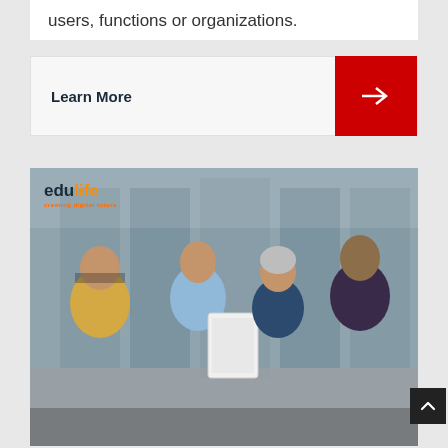users, functions or organizations.
Learn More
[Figure (photo): Group of four diverse professionals looking at a tablet device together in an office setting. A woman in a yellow cardigan, a man in a blue shirt, an older woman with gray hair, and a young man in a plaid shirt are gathered around a tablet. The edulife logo appears in the top-left corner of the image.]